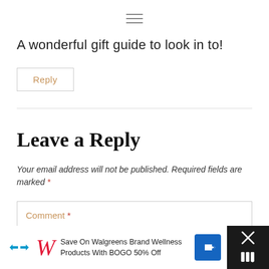[Figure (other): Hamburger menu icon (three horizontal lines)]
A wonderful gift guide to look in to!
Reply
Leave a Reply
Your email address will not be published. Required fields are marked *
Comment *
[Figure (screenshot): Walgreens advertisement banner: Save On Walgreens Brand Wellness Products With BOGO 50% Off]